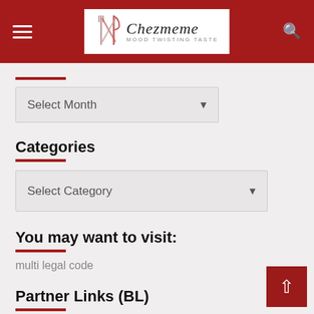Chezmeme — MOOD TWISTING TASTE
Select Month
Categories
Select Category
You may want to visit:
multi legal code
Partner Links (BL)